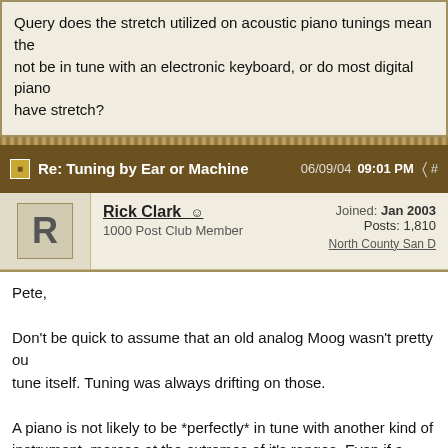Query does the stretch utilized on acoustic piano tunings mean they will not be in tune with an electronic keyboard, or do most digital pianos have stretch?
Re: Tuning by Ear or Machine  06/09/04 09:01 PM
Rick Clark  1000 Post Club Member  Joined: Jan 2003  Posts: 1,810  North County San
Pete,

Don't be quick to assume that an old analog Moog wasn't pretty out of tune itself. Tuning was always drifting on those.

A piano is not likely to be *perfectly* in tune with another kind of instrument, moreso at the extremes of it's ranges. Even if a digital has stretch built in (some do some don't some are programmable), it's unlikely to be exactly the same as another acoustic piano. But that's neccessarily a problem and slight differences in tuning exist almost everywhere in the world of real, acoustical instruments. In fact, too perfect a match in tuning can create a noticeably thin sound. Synths who try to emulate different instruments of the orchestra utilize slight mistunings to create a more natural and lush acoustical interaction. They are best at convention blah one of those natural...